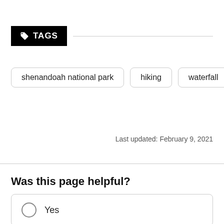TAGS
shenandoah national park
hiking
waterfall
Last updated: February 9, 2021
Was this page helpful?
Yes